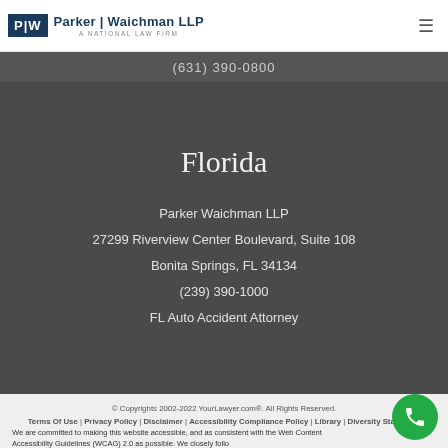Parker | Waichman LLP — A National Law Firm
(631) 390-0800
Florida
Parker Waichman LLP
27299 Riverview Center Boulevard, Suite 108
Bonita Springs, FL 34134
(239) 390-1000
FL Auto Accident Attorney
© Copyrights 2002-2022 YourLawyer.com®. All Rights Reserved.
Terms Of Use | Privacy Policy | Disclaimer | Accessibility Compliance Policy | Library | Diversity Statement
We are committed to making this website accessible, and as consistent with the Web Content Accessibility Guidelines (WCAG) 2.0 as possible. We closely follo